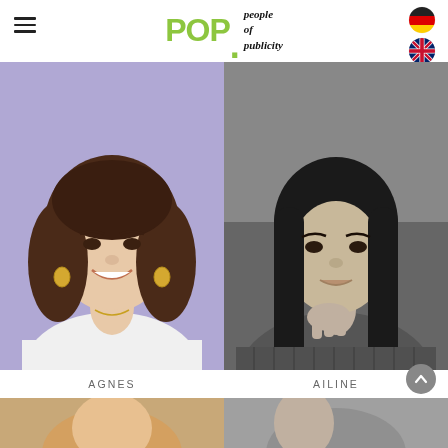POP people of publicity — navigation header with hamburger menu and flag icons
[Figure (photo): Portrait photo of Agnes: young woman with curly brown hair, hoop earrings, white top, smiling against lavender/purple background]
[Figure (photo): Portrait photo of Ailine: woman with dark straight hair, hand resting near chin, wearing grey knit sweater, black and white/desaturated photo]
AGNES
AILINE
[Figure (photo): Partial portrait photo, warm-toned, bottom row left]
[Figure (photo): Partial portrait photo, desaturated, bottom row right]